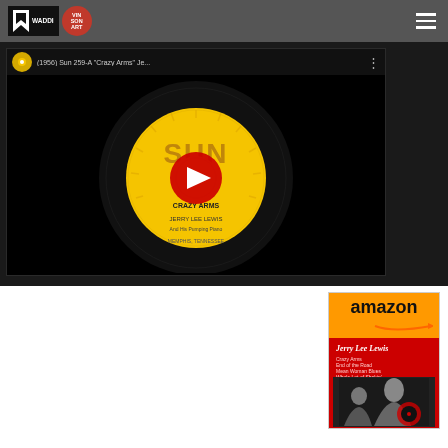[Figure (screenshot): Navigation bar with WADDI logo, Vinson Art red circle logo, and hamburger menu on dark gray background]
[Figure (screenshot): YouTube video player showing Sun Records 45 RPM vinyl record with yellow label. Title bar reads: (1956) Sun 259-A Crazy Arms Je... with three-dot menu. Record shows SUN label, CRAZY ARMS, JERRY LEE LEWIS, Memphis Tennessee]
[Figure (screenshot): Amazon advertisement showing orange Amazon logo with smile arrow, and a Jerry Lee Lewis album/product image with red and black cover design showing Jerry Lee Lewis text and a portrait photo]